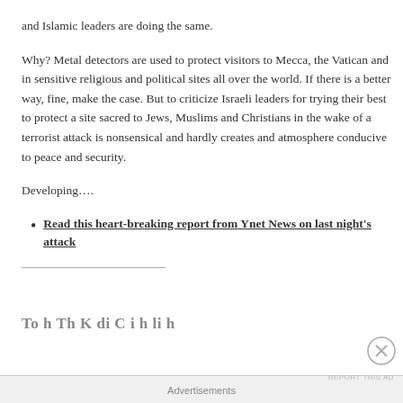and Islamic leaders are doing the same.
Why? Metal detectors are used to protect visitors to Mecca, the Vatican and in sensitive religious and political sites all over the world. If there is a better way, fine, make the case. But to criticize Israeli leaders for trying their best to protect a site sacred to Jews, Muslims and Christians in the wake of a terrorist attack is nonsensical and hardly creates and atmosphere conducive to peace and security.
Developing….
Read this heart-breaking report from Ynet News on last night's attack
Advertisements